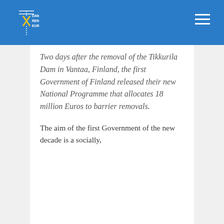Dam Removal Europe
Two days after the removal of the Tikkurila Dam in Vantaa, Finland, the first Government of Finland released their new National Programme that allocates 18 million Euros to barrier removals.
The aim of the first Government of the new decade is a socially,